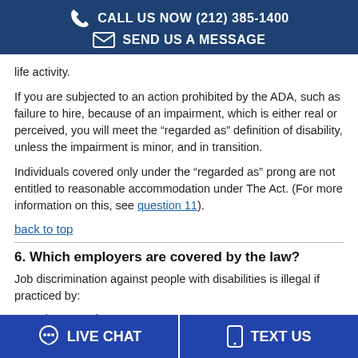CALL US NOW (212) 385-1400 | SEND US A MESSAGE
life activity.
If you are subjected to an action prohibited by the ADA, such as failure to hire, because of an impairment, which is either real or perceived, you will meet the “regarded as” definition of disability, unless the impairment is minor, and in transition.
Individuals covered only under the “regarded as” prong are not entitled to reasonable accommodation under The Act. (For more information on this, see question 11).
back to top
6. Which employers are covered by the law?
Job discrimination against people with disabilities is illegal if practiced by:
Private employers;
LIVE CHAT | TEXT US